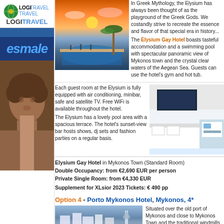[Figure (logo): Logi Travel logo with globe icon]
[Figure (illustration): Blue bar separator]
[Figure (logo): esmale logo in blue italic text on dark blue background]
[Figure (photo): Young man facing camera, shirtless, against brick wall background]
[Figure (photo): Pool area of Elysium Gay Hotel at sunset with palm trees and sea view]
In Greek Mythology, the Elysium has always been thought of as the playground of the Greek Gods. We costandly strive to recreate the essence and flavor of that special era in history...
The Elysium Gay Hotel boasts tasteful accommodation and a swimming pool with spectacular panoramic view of Mykonos town and the crystal clear waters of the Aegean Sea. Guests can use the hotel's gym and hot tub.
Each guest room at the Elysium is fully equipped with air conditioning, minibar, safe and satellite TV. Free WiFi is available throughout the hotel.
The Elysium has a lovely pool area with a spacious terrace. The hotel's sunset-view bar hosts shows, dj sets and fashion parties on a regular basis.
[Figure (photo): White hotel room interior with bed, TV, and blue accents]
Elysium Gay Hotel in Mykonos Town (Standard Room)
Double Occupancy: from €2,690 EUR per person
Private Single Room: from €4,330 EUR
Supplement for XLsior 2023 Tickets: € 490 pp
Option 4 - Porto Mykonos Hotel, Mykonos, 4*
[Figure (photo): Aerial/sea view of Mykonos port area]
Situated over the old port of Mykonos and close to Mykonos Town and the traditional windmills